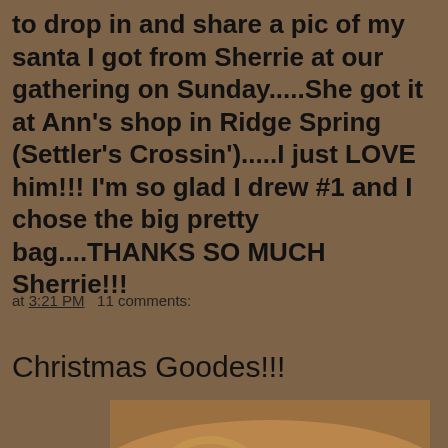to drop in and share a pic of my santa I got from Sherrie at our gathering on Sunday.....She got it at Ann's shop in Ridge Spring (Settler's Crossin').....I just LOVE him!!! I'm so glad I drew #1 and I chose the big pretty bag....THANKS SO MUCH Sherrie!!!
at 3:21 PM   11 comments:
Christmas Goodes!!!
[Figure (photo): A warm-toned photo showing what appears to be curved brown/golden objects, possibly Christmas decorations or goodes items, with amber lighting.]